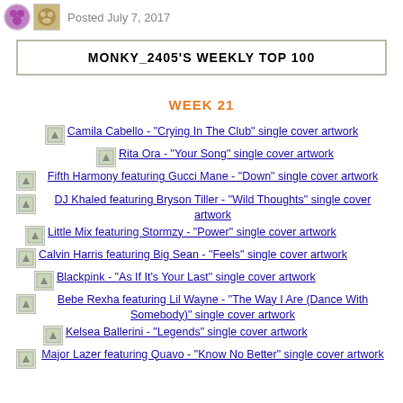Posted July 7, 2017
MONKY_2405'S WEEKLY TOP 100
WEEK 21
Camila Cabello - "Crying In The Club" single cover artwork
Rita Ora - "Your Song" single cover artwork
Fifth Harmony featuring Gucci Mane - "Down" single cover artwork
DJ Khaled featuring Bryson Tiller - "Wild Thoughts" single cover artwork
Little Mix featuring Stormzy - "Power" single cover artwork
Calvin Harris featuring Big Sean - "Feels" single cover artwork
Blackpink - "As If It's Your Last" single cover artwork
Bebe Rexha featuring Lil Wayne - "The Way I Are (Dance With Somebody)" single cover artwork
Kelsea Ballerini - "Legends" single cover artwork
Major Lazer featuring Quavo - "Know No Better" single cover artwork